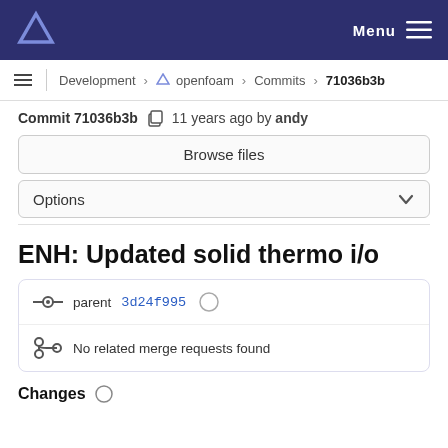Menu
Development › openfoam › Commits › 71036b3b
Commit 71036b3b  11 years ago by andy
Browse files
Options
ENH: Updated solid thermo i/o
parent 3d24f995
No related merge requests found
Changes